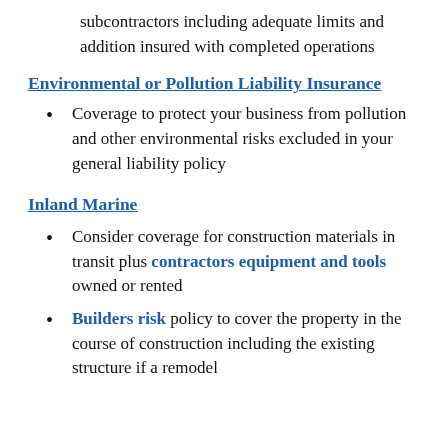subcontractors including adequate limits and addition insured with completed operations
Environmental or Pollution Liability Insurance
Coverage to protect your business from pollution and other environmental risks excluded in your general liability policy
Inland Marine
Consider coverage for construction materials in transit plus contractors equipment and tools owned or rented
Builders risk policy to cover the property in the course of construction including the existing structure if a remodel